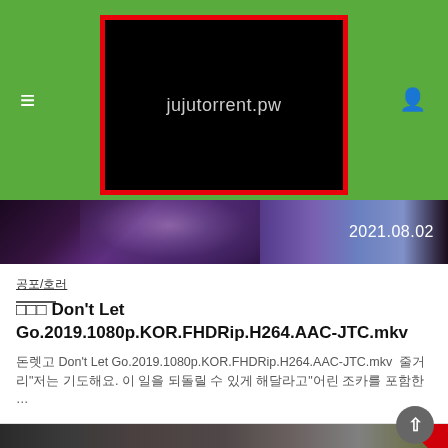[Figure (screenshot): Website header with green background, hamburger menu icon on left, user icon on right, and central black box with red border containing the text 'jujutorrent.pw']
[Figure (screenshot): Dark movie still banner with date 2021.08.02 on the right]
공포/호러
□□□ Don't Let Go.2019.1080p.KOR.FHDRip.H264.AAC-JTC.mkv
돈렛고 Don't Let Go.2019.1080p.KOR.FHDRip.H264.AAC-JTC.mkv  줄거리"저는 기도해요. 이 일을 되돌릴 수 있게 해달라고"어린 조카를 포함한 …
[Figure (screenshot): Bottom thumbnail showing a dark creature/dragon image]